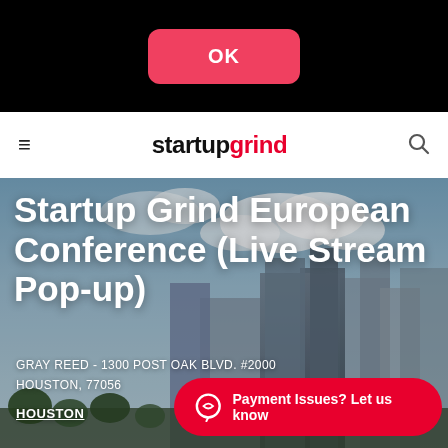[Figure (screenshot): Black bar at top of mobile screen with a pink/red rounded OK button]
startup grind
[Figure (photo): City skyline of Houston with skyscrapers under cloudy sky, used as hero background image]
Startup Grind European Conference (Live Stream Pop-up)
GRAY REED - 1300 POST OAK BLVD. #2000 HOUSTON, 77056
HOUSTON
Payment Issues? Let us know